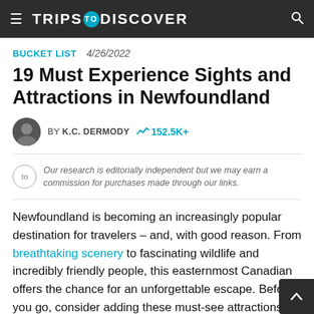TRIPS TO DISCOVER
BUCKET LIST  4/26/2022
19 Must Experience Sights and Attractions in Newfoundland
BY K.C. DERMODY  152.5K+
Our research is editorially independent but we may earn a commission for purchases made through our links.
Newfoundland is becoming an increasingly popular destination for travelers – and, with good reason. From breathtaking scenery to fascinating wildlife and incredibly friendly people, this easternmost Canadian offers the chance for an unforgettable escape. Before you go, consider adding these must-see attractions to your visit.